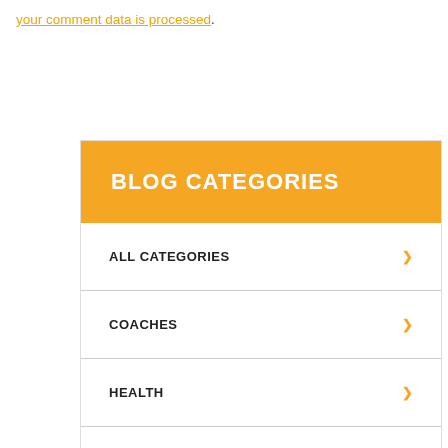your comment data is processed.
BLOG CATEGORIES
ALL CATEGORIES
COACHES
HEALTH
HITTING